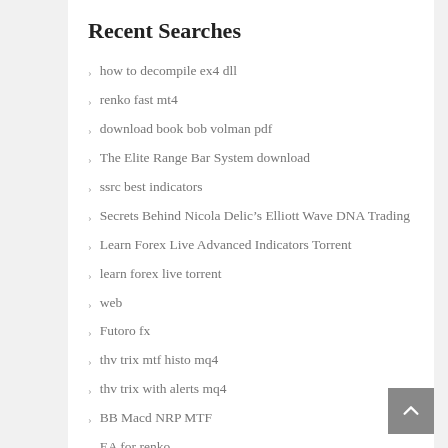Recent Searches
how to decompile ex4 dll
renko fast mt4
download book bob volman pdf
The Elite Range Bar System download
ssrc best indicators
Secrets Behind Nicola Delic’s Elliott Wave DNA Trading
Learn Forex Live Advanced Indicators Torrent
learn forex live torrent
web
Futoro fx
thv trix mtf histo mq4
thv trix with alerts mq4
BB Macd NRP MTF
EA for renko
thv cobra forex strategy
harrison gann courses
new non repainting indicators for mt4 never fails